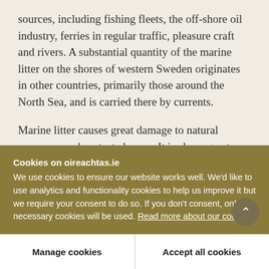sources, including fishing fleets, the off-shore oil industry, ferries in regular traffic, pleasure craft and rivers. A substantial quantity of the marine litter on the shores of western Sweden originates in other countries, primarily those around the North Sea, and is carried there by currents.
Marine litter causes great damage to natural resources and protected areas. It is also a great threat to the development of tourism, not only in the coastal areas around Sweden but in this country
Cookies on oireachtas.ie
We use cookies to ensure our website works well. We'd like to use analytics and functionality cookies to help us improve it but we require your consent to do so. If you don't consent, only necessary cookies will be used. Read more about our cookies
Manage cookies
Accept all cookies